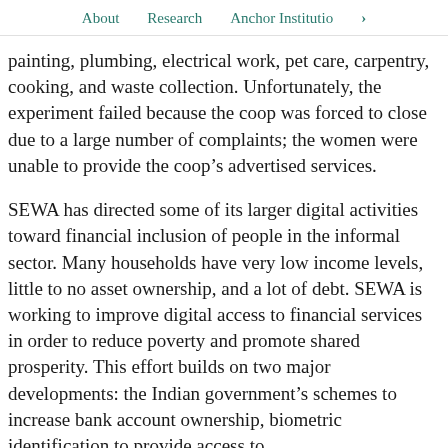About   Research   Anchor Institutio  >
painting, plumbing, electrical work, pet care, carpentry, cooking, and waste collection. Unfortunately, the experiment failed because the coop was forced to close due to a large number of complaints; the women were unable to provide the coop’s advertised services.
SEWA has directed some of its larger digital activities toward financial inclusion of people in the informal sector. Many households have very low income levels, little to no asset ownership, and a lot of debt. SEWA is working to improve digital access to financial services in order to reduce poverty and promote shared prosperity. This effort builds on two major developments: the Indian government’s schemes to increase bank account ownership, biometric identification to provide access to